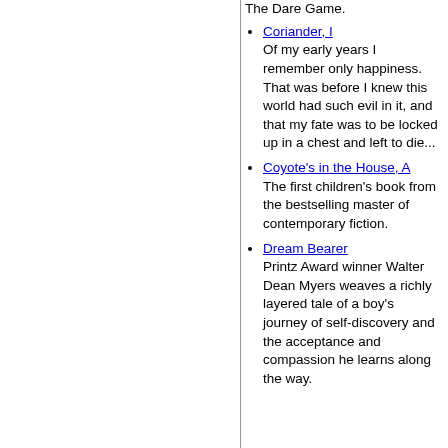The Dare Game.
Coriander, I
Of my early years I remember only happiness. That was before I knew this world had such evil in it, and that my fate was to be locked up in a chest and left to die...
Coyote's in the House, A
The first children's book from the bestselling master of contemporary fiction.
Dream Bearer
Printz Award winner Walter Dean Myers weaves a richly layered tale of a boy's journey of self-discovery and the acceptance and compassion he learns along the way.